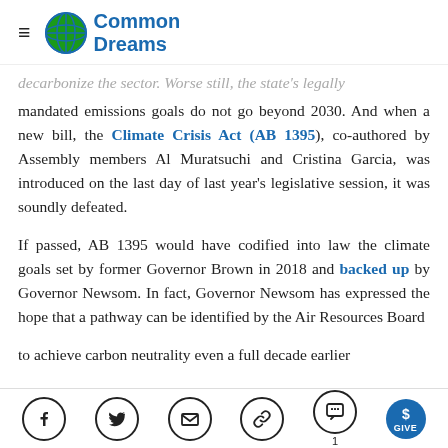Common Dreams
decarbonize the sector. Worse still, the state's legally mandated emissions goals do not go beyond 2030. And when a new bill, the Climate Crisis Act (AB 1395), co-authored by Assembly members Al Muratsuchi and Cristina Garcia, was introduced on the last day of last year's legislative session, it was soundly defeated.
If passed, AB 1395 would have codified into law the climate goals set by former Governor Brown in 2018 and backed up by Governor Newsom. In fact, Governor Newsom has expressed the hope that a pathway can be identified by the Air Resources Board to achieve carbon neutrality even a full decade earlier